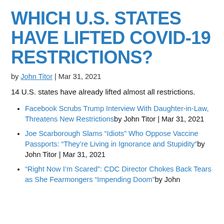WHICH U.S. STATES HAVE LIFTED COVID-19 RESTRICTIONS?
by John Titor | Mar 31, 2021
14 U.S. states have already lifted almost all restrictions.
Facebook Scrubs Trump Interview With Daughter-in-Law, Threatens New Restrictions by John Titor | Mar 31, 2021
Joe Scarborough Slams “Idiots” Who Oppose Vaccine Passports: “They’re Living in Ignorance and Stupidity” by John Titor | Mar 31, 2021
“Right Now I’m Scared”: CDC Director Chokes Back Tears as She Fearmongers “Impending Doom” by John